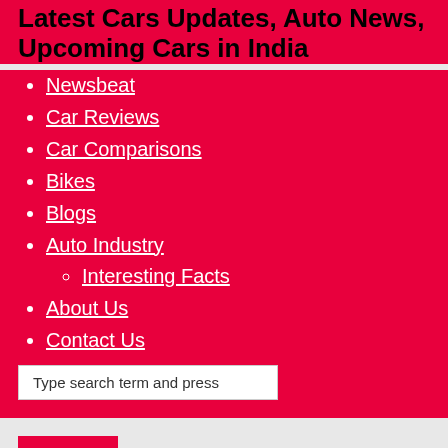Latest Cars Updates, Auto News, Upcoming Cars in India
Newsbeat
Car Reviews
Car Comparisons
Bikes
Blogs
Auto Industry
Interesting Facts
About Us
Contact Us
Type search term and press
Three new cars to be rolled out in June 2021!